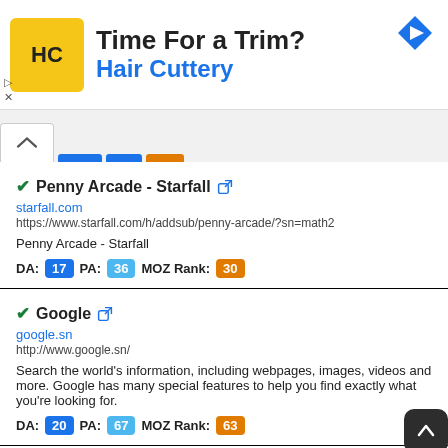[Figure (screenshot): Hair Cuttery advertisement banner with yellow logo, 'Time For a Trim?' heading, and navigation arrow icon]
✓Penny Arcade - Starfall 🔗
starfall.com
https://www.starfall.com/h/addsub/penny-arcade/?sn=math2
Penny Arcade - Starfall
DA: 17  PA: 36  MOZ Rank: 30
✓Google 🔗
google.sn
http://www.google.sn/
Search the world's information, including webpages, images, videos and more. Google has many special features to help you find exactly what you're looking for.
DA: 20  PA: 67  MOZ Rank: 63